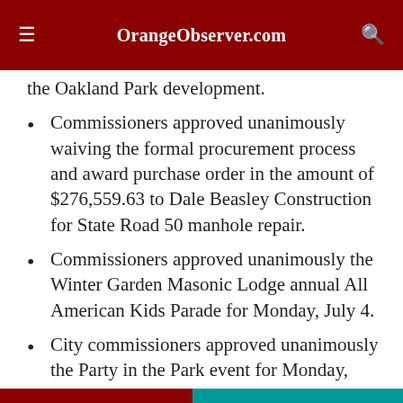OrangeObserver.com
the Oakland Park development.
Commissioners approved unanimously waiving the formal procurement process and award purchase order in the amount of $276,559.63 to Dale Beasley Construction for State Road 50 manhole repair.
Commissioners approved unanimously the Winter Garden Masonic Lodge annual All American Kids Parade for Monday, July 4.
City commissioners approved unanimously the Party in the Park event for Monday, July 4.